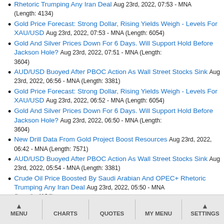Rhetoric Trumping Any Iran Deal Aug 23rd, 2022, 07:53 - MNA (Length: 4134)
Gold Price Forecast: Strong Dollar, Rising Yields Weigh - Levels For XAU/USD Aug 23rd, 2022, 07:53 - MNA (Length: 6054)
Gold And Silver Prices Down For 6 Days. Will Support Hold Before Jackson Hole? Aug 23rd, 2022, 07:51 - MNA (Length: 3604)
AUD/USD Buoyed After PBOC Action As Wall Street Stocks Sink Aug 23rd, 2022, 06:56 - MNA (Length: 3381)
Gold Price Forecast: Strong Dollar, Rising Yields Weigh - Levels For XAU/USD Aug 23rd, 2022, 06:52 - MNA (Length: 6054)
Gold And Silver Prices Down For 6 Days. Will Support Hold Before Jackson Hole? Aug 23rd, 2022, 06:50 - MNA (Length: 3604)
New Drill Data From Gold Project Boost Resources Aug 23rd, 2022, 06:42 - MNA (Length: 7571)
AUD/USD Buoyed After PBOC Action As Wall Street Stocks Sink Aug 23rd, 2022, 05:54 - MNA (Length: 3381)
Crude Oil Price Boosted By Saudi Arabian And OPEC+ Rhetoric Trumping Any Iran Deal Aug 23rd, 2022, 05:50 - MNA (Length: 4134)
Gold Price Forecast: Strong Dollar, Rising Yields Weigh - Levels For XAU/USD Aug 23rd, 2022, 05:50 - MNA (Length: 6054)
MENU  CHARTS  QUOTES  MY MENU  SETTINGS